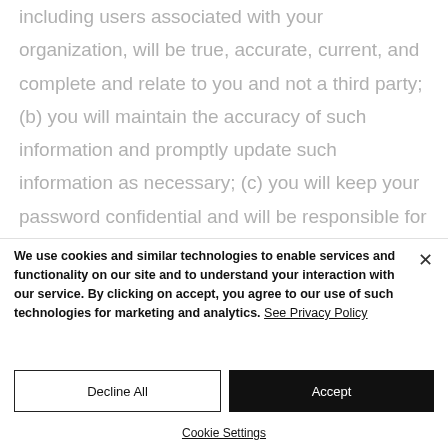including users associated with your organization, will be true, accurate, current, and complete and relate to you and not a third party; (b) you will maintain the accuracy of such information and promptly update such information as necessary; (c) you will keep your password confidential and will be responsible for all
We use cookies and similar technologies to enable services and functionality on our site and to understand your interaction with our service. By clicking on accept, you agree to our use of such technologies for marketing and analytics. See Privacy Policy
Decline All
Accept
Cookie Settings